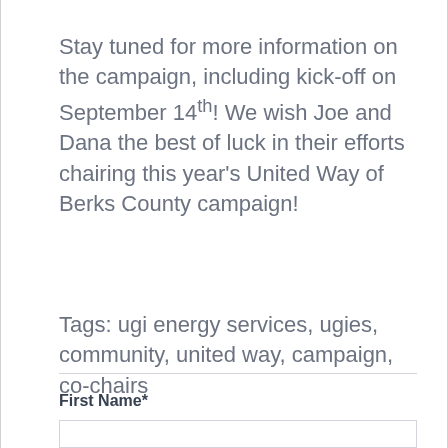Stay tuned for more information on the campaign, including kick-off on September 14th! We wish Joe and Dana the best of luck in their efforts chairing this year's United Way of Berks County campaign!
Tags: ugi energy services, ugies, community, united way, campaign, co-chairs
First Name*